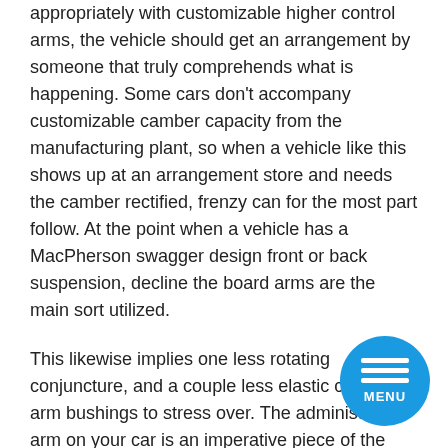appropriately with customizable higher control arms, the vehicle should get an arrangement by someone that truly comprehends what is happening. Some cars don't accompany customizable camber capacity from the manufacturing plant, so when a vehicle like this shows up at an arrangement store and needs the camber rectified, frenzy can for the most part follow. At the point when a vehicle has a MacPherson swagger design front or back suspension, decline the board arms are the main sort utilized.
This likewise implies one less rotating conjuncture, and a couple less elastic control arm bushings to stress over. The administration arm on your car is an imperative piece of the guiding and suspension framework, and it's vital that it's maintained in great working control. They are helpless against place and tear, as it's ceaselessly being used as you drive your car. The control arm should be fixed or